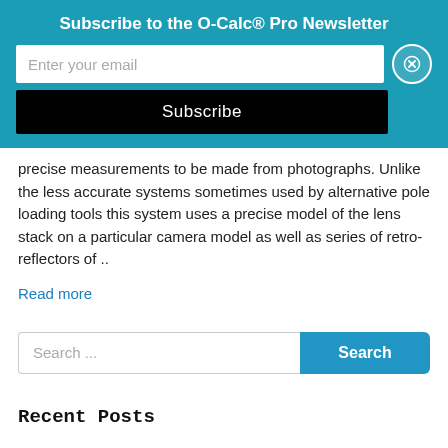Subscribe to the O-Calc® Pro Newsletter
Enter your email
Subscribe
precise measurements to be made from photographs. Unlike the less accurate systems sometimes used by alternative pole loading tools this system uses a precise model of the lens stack on a particular camera model as well as series of retro-reflectors of ..
Read more
Search ...
Search
Recent Posts
V6.02 Updates
Version 6.01 Minor Update v2.0
Version 6.01 Minor Update v1.0